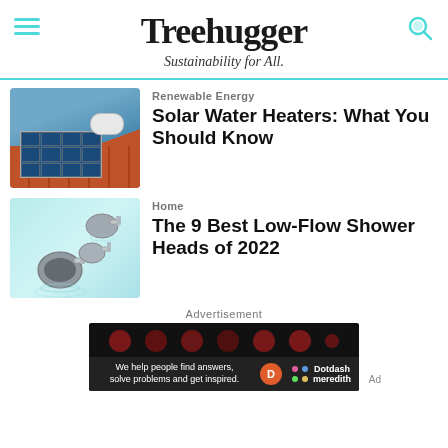Treehugger — Sustainability for All.
[Figure (photo): Solar water heater panels on a red tile roof with mountains in background]
Renewable Energy
Solar Water Heaters: What You Should Know
[Figure (photo): Three chrome low-flow shower heads on a light blue background]
Home
The 9 Best Low-Flow Shower Heads of 2022
Advertisement
[Figure (photo): Advertisement banner: We help people find answers, solve problems and get inspired. Dotdash Meredith logo.]